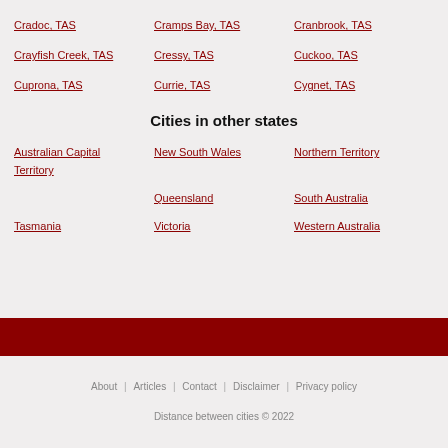Cradoc, TAS
Cramps Bay, TAS
Cranbrook, TAS
Crayfish Creek, TAS
Cressy, TAS
Cuckoo, TAS
Cuprona, TAS
Currie, TAS
Cygnet, TAS
Cities in other states
Australian Capital Territory
New South Wales
Northern Territory
Queensland
South Australia
Tasmania
Victoria
Western Australia
About | Articles | Contact | Disclaimer | Privacy policy
Distance between cities © 2022